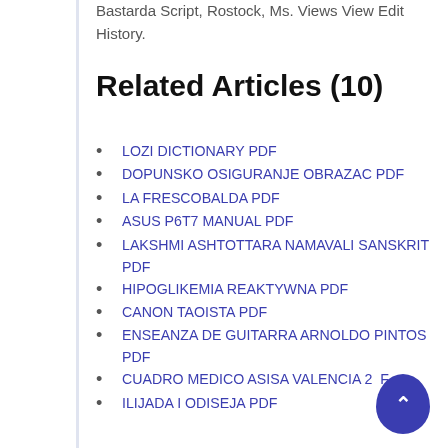Bastarda Script, Rostock, Ms. Views View Edit History.
Related Articles (10)
LOZI DICTIONARY PDF
DOPUNSKO OSIGURANJE OBRAZAC PDF
LA FRESCOBALDA PDF
ASUS P6T7 MANUAL PDF
LAKSHMI ASHTOTTARA NAMAVALI SANSKRIT PDF
HIPOGLIKEMIA REAKTYWNA PDF
CANON TAOISTA PDF
ENSEANZA DE GUITARRA ARNOLDO PINTOS PDF
CUADRO MEDICO ASISA VALENCIA 2... PDF
ILIJADA I ODISEJA PDF